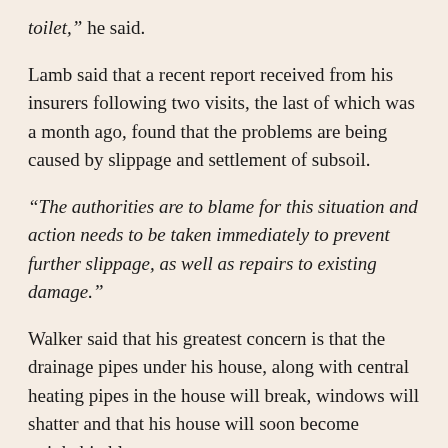toilet," he said.
Lamb said that a recent report received from his insurers following two visits, the last of which was a month ago, found that the problems are being caused by slippage and settlement of subsoil.
“The authorities are to blame for this situation and action needs to be taken immediately to prevent further slippage, as well as repairs to existing damage.”
Walker said that his greatest concern is that the drainage pipes under his house, along with central heating pipes in the house will break, windows will shatter and that his house will soon become uninhabitable.
“I would like the authorities to carry out all the necessary work